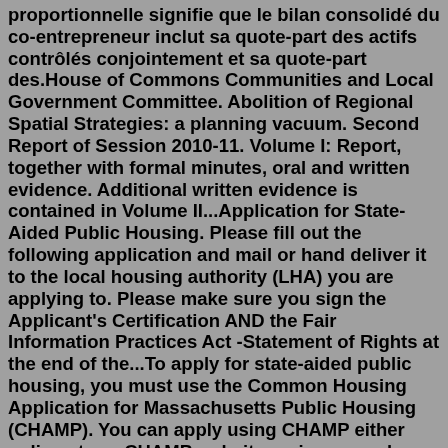proportionnelle signifie que le bilan consolidé du co-entrepreneur inclut sa quote-part des actifs contrôlés conjointement et sa quote-part des.House of Commons Communities and Local Government Committee. Abolition of Regional Spatial Strategies: a planning vacuum. Second Report of Session 2010-11. Volume I: Report, together with formal minutes, oral and written evidence. Additional written evidence is contained in Volume II...Application for State-Aided Public Housing. Please fill out the following application and mail or hand deliver it to the local housing authority (LHA) you are applying to. Please make sure you sign the Applicant's Certification AND the Fair Information Practices Act -Statement of Rights at the end of the...To apply for state-aided public housing, you must use the Common Housing Application for Massachusetts Public Housing (CHAMP). You can apply using CHAMP either online at our CHAMP website, or in person by completing a printed paper application. Both the online and paper applications are available in English, Chinese, Haitian